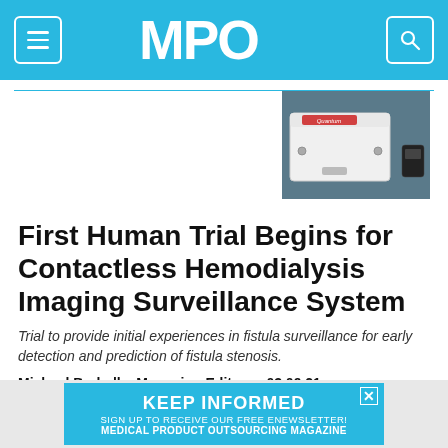MPO
[Figure (photo): White rectangular medical device (contactless hemodialysis imaging surveillance system) with a small component beside it, on a gray background, with a red brand label on top.]
First Human Trial Begins for Contactless Hemodialysis Imaging Surveillance System
Trial to provide initial experiences in fistula surveillance for early detection and prediction of fistula stenosis.
Michael Barbella, Managing Editor  •  03.09.21
KEEP INFORMED
SIGN UP TO RECEIVE OUR FREE ENEWSLETTER!
MEDICAL PRODUCT OUTSOURCING MAGAZINE